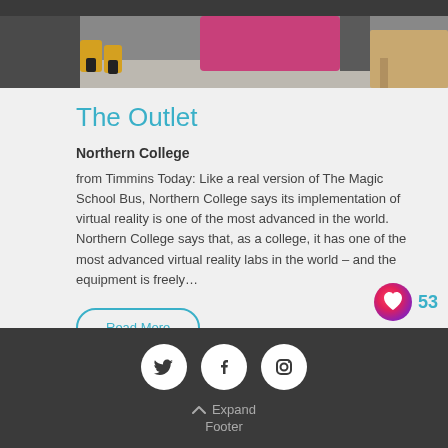[Figure (photo): Partial view of people's feet/lower body in a room, photo cropped at top of page]
The Outlet
Northern College
from Timmins Today: Like a real version of The Magic School Bus, Northern College says its implementation of virtual reality is one of the most advanced in the world. Northern College says that, as a college, it has one of the most advanced virtual reality labs in the world – and the equipment is freely…
Read More
[Figure (illustration): Heart/like icon in pink-red gradient with count 53]
Expand Footer (social icons: Twitter, Facebook, Instagram)